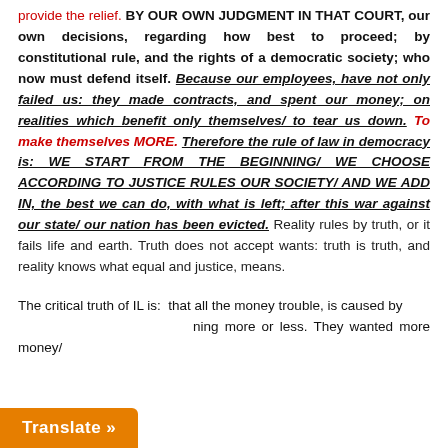provide the relief. BY OUR OWN JUDGMENT IN THAT COURT, our own decisions, regarding how best to proceed; by constitutional rule, and the rights of a democratic society; who now must defend itself. Because our employees, have not only failed us: they made contracts, and spent our money; on realities which benefit only themselves/ to tear us down. To make themselves MORE. Therefore the rule of law in democracy is: WE START FROM THE BEGINNING/ WE CHOOSE ACCORDING TO JUSTICE RULES OUR SOCIETY/ AND WE ADD IN, the best we can do, with what is left; after this war against our state/ our nation has been evicted. Reality rules by truth, or it fails life and earth. Truth does not accept wants: truth is truth, and reality knows what equal and justice, means.
The critical truth of IL is: that all the money trouble, is caused by nothing more or less. They wanted more money/